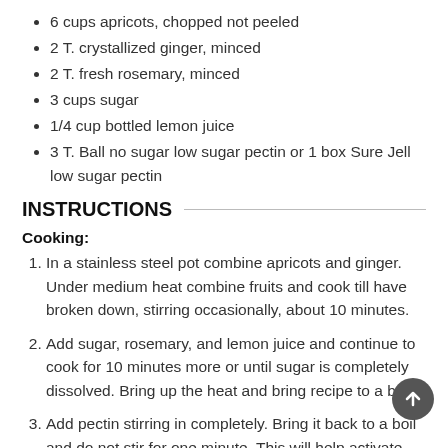6 cups apricots, chopped not peeled
2 T. crystallized ginger, minced
2 T. fresh rosemary, minced
3 cups sugar
1/4 cup bottled lemon juice
3 T. Ball no sugar low sugar pectin or 1 box Sure Jell low sugar pectin
INSTRUCTIONS
Cooking:
In a stainless steel pot combine apricots and ginger.  Under medium heat combine fruits and cook till have broken down, stirring occasionally, about 10 minutes.
Add sugar, rosemary, and lemon juice and continue to cook for 10 minutes more or until sugar is completely dissolved. Bring up the heat and bring recipe to a boil.
Add pectin stirring in completely. Bring it back to a boil and do not stir for one minute. This will help activate the p...  Remove from heat immediately.
Processing: